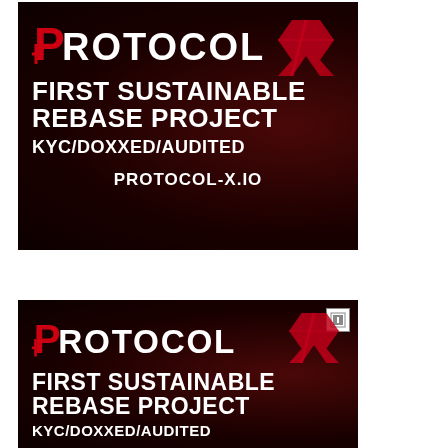[Figure (illustration): Protocol X advertisement banner (first). Dark red background with Protocol X logo at top (P with cross, 'PROTOCOL' text, and red X emblem). White bold text: 'FIRST SUSTAINABLE REBASE PROJECT', 'KYC/DOXXED/AUDITED', 'PROTOCOL-X.IO'.]
[Figure (illustration): Protocol X advertisement banner (second, partial). Same dark red background with Protocol X logo, white bold text: 'FIRST SUSTAINABLE REBASE PROJECT', 'KYC/DOXXED/AUDITED' (partially visible). Ad label icon in top-right corner.]